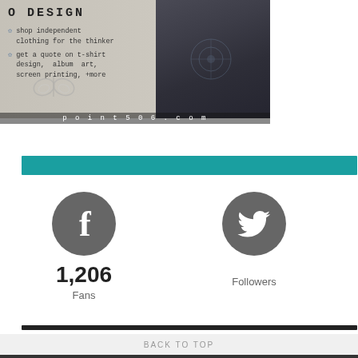[Figure (photo): Advertisement banner for a clothing/design brand showing text on left side with bullets: shop independent clothing for the thinker, get a quote on t-shirt design, album art, screen printing, +more. URL point506.com at bottom. Right side shows a photo of a person wearing graphic t-shirt and jacket. Brand name partial text 'O DESIGN' visible at top.]
[Figure (infographic): Teal horizontal bar divider]
1,206
Fans
Followers
[Figure (infographic): Dark horizontal bar divider]
BACK TO TOP